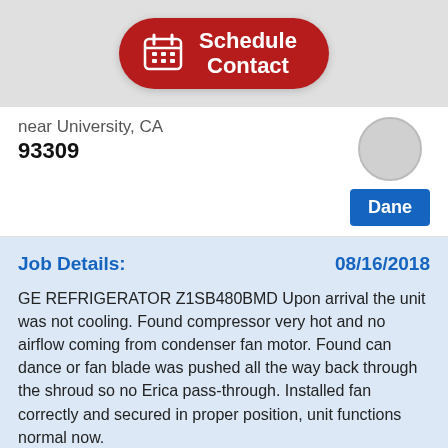[Figure (other): Red pill-shaped button with calendar icon and text 'Schedule Contact']
near University, CA 93309
[Figure (other): Gray avatar circle placeholder]
Dane
Job Details: 08/16/2018
GE REFRIGERATOR Z1SB480BMD Upon arrival the unit was not cooling. Found compressor very hot and no airflow coming from condenser fan motor. Found can dance or fan blade was pushed all the way back through the shroud so no Erica pass-through. Installed fan correctly and secured in proper position, unit functions normal now.